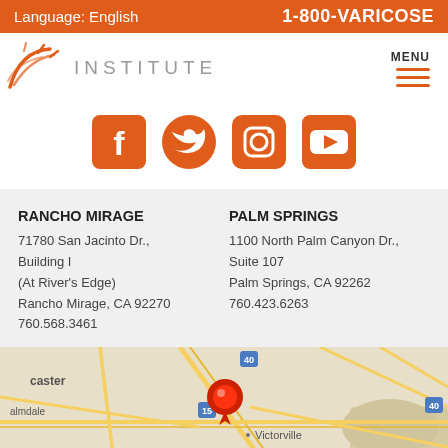Language: English    1-800-VARICOSE
[Figure (logo): Institute logo with sun/ray icon and text INSTITUTE]
[Figure (infographic): Social media icons: Facebook, Twitter, Instagram, YouTube in orange]
RANCHO MIRAGE
71780 San Jacinto Dr.,
Building I
(At River's Edge)
Rancho Mirage, CA 92270
760.568.3461
PALM SPRINGS
1100 North Palm Canyon Dr.,
Suite 107
Palm Springs, CA 92262
760.423.6263
[Figure (map): Google map showing Southern California region with red location pins near San Bernardino/Victorville area and Twentynine Palms visible]